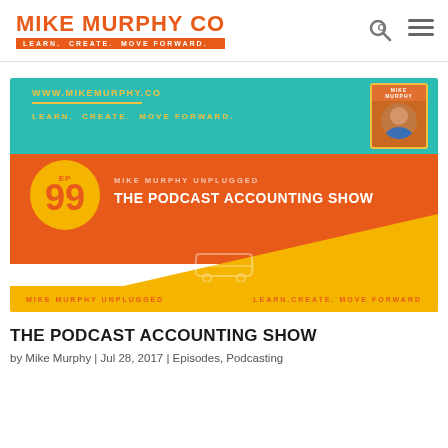MIKE MURPHY CO — LEARN. CREATE. MOVE FORWARD.
[Figure (illustration): Podcast episode artwork for Mike Murphy Unplugged EP 99 - The Podcast Accounting Show. Teal banner at top with WWW.MIKEMURPHY.CO and LEARN. CREATE. MOVE FORWARD. Orange middle section with yellow circle showing EP 99, and text MIKE MURPHY UNPLUGGED / THE PODCAST ACCOUNTING SHOW. Yellow wave at bottom with a bus icon and bottom bar reading MIKE MURPHY UNPLUGGED and LEARN.CREATE. MOVE FORWARD.]
THE PODCAST ACCOUNTING SHOW
by Mike Murphy | Jul 28, 2017 | Episodes, Podcasting